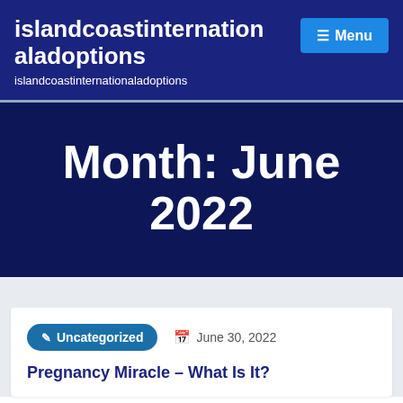islandcoastinternationaladoptions
islandcoastinternationaladoptions
Month: June 2022
Uncategorized   June 30, 2022
Pregnancy Miracle – What Is It?